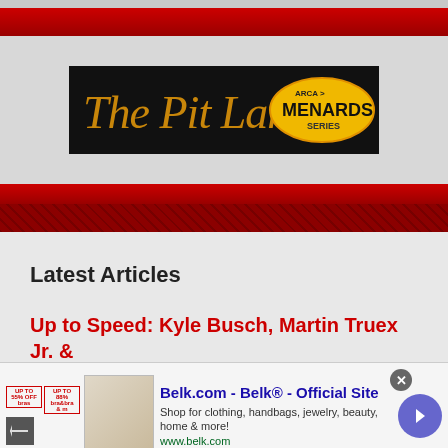[Figure (logo): The Pit Lane logo with Menards ARCA series branding on black background]
Latest Articles
Up to Speed: Kyle Busch, Martin Truex Jr. & Joe Gibbs Racing at the Crossroads
Did You Notice?: The Edge Is Thin at
[Figure (screenshot): Belk.com advertisement banner: Belk - Official Site. Shop for clothing, handbags, jewelry, beauty, home & more! www.belk.com]